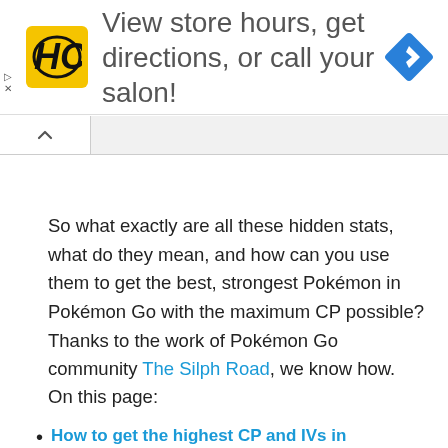[Figure (other): Advertisement banner: HC (Hair Club) logo on yellow square background, text 'View store hours, get directions, or call your salon!' with a blue navigation/directions diamond icon on the right]
So what exactly are all these hidden stats, what do they mean, and how can you use them to get the best, strongest Pokémon in Pokémon Go with the maximum CP possible? Thanks to the work of Pokémon Go community The Silph Road, we know how.
On this page:
How to get the highest CP and IVs in Pokémon Go
How To Evolve Eevee Into